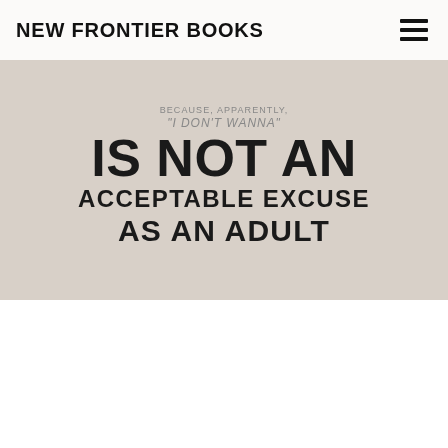NEW FRONTIER BOOKS
[Figure (photo): Photo of a decorative plate or sign with text reading: BECAUSE, APPARENTLY, "I DON'T WANNA" IS NOT AN ACCEPTABLE EXCUSE AS AN ADULT, on a light grey/white background]
[Figure (photo): Photo of an iced coffee drink in a clear plastic cup held by a hand, alongside a dark car interior with steering wheel visible on the right side]